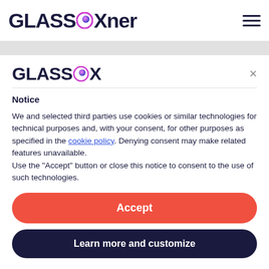GLASSBOX
[Figure (screenshot): Cookie consent modal dialog from Glassbox with Accept and Learn more and customize buttons]
Notice
We and selected third parties use cookies or similar technologies for technical purposes and, with your consent, for other purposes as specified in the cookie policy. Denying consent may make related features unavailable.
Use the "Accept" button or close this notice to consent to the use of such technologies.